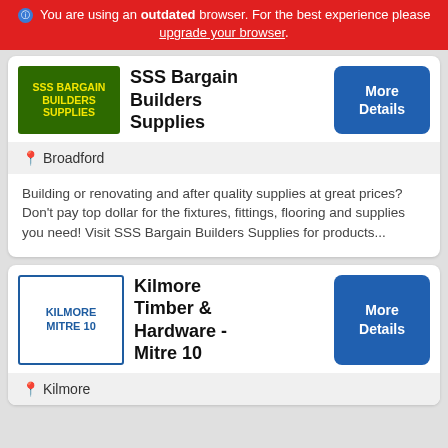You are using an outdated browser. For the best experience please upgrade your browser.
[Figure (logo): SSS Bargain Builders Supplies logo — green background with yellow bold text]
SSS Bargain Builders Supplies
More Details
Broadford
Building or renovating and after quality supplies at great prices? Don't pay top dollar for the fixtures, fittings, flooring and supplies you need! Visit SSS Bargain Builders Supplies for products...
[Figure (logo): Kilmore Mitre 10 logo — blue border with blue bold text]
Kilmore Timber & Hardware - Mitre 10
More Details
Kilmore